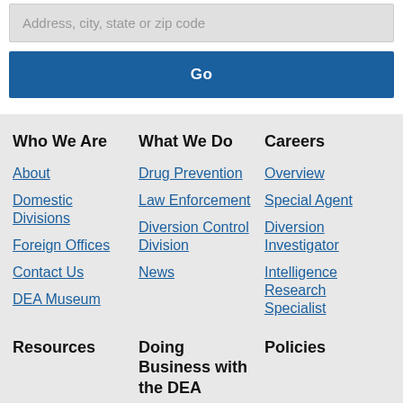Address, city, state or zip code
Go
Who We Are
What We Do
Careers
About
Drug Prevention
Overview
Domestic Divisions
Law Enforcement
Special Agent
Foreign Offices
Diversion Control Division
Diversion Investigator
Contact Us
News
Intelligence Research Specialist
DEA Museum
Resources
Doing Business with the DEA
Policies